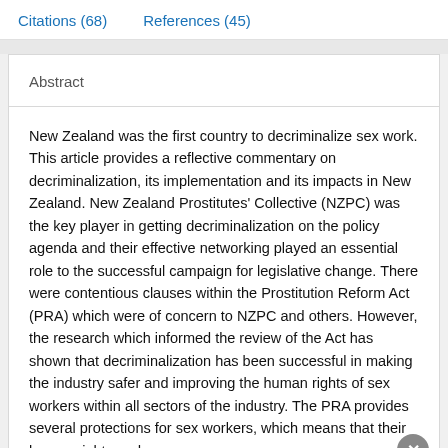Citations (68)    References (45)
Abstract
New Zealand was the first country to decriminalize sex work. This article provides a reflective commentary on decriminalization, its implementation and its impacts in New Zealand. New Zealand Prostitutes' Collective (NZPC) was the key player in getting decriminalization on the policy agenda and their effective networking played an essential role to the successful campaign for legislative change. There were contentious clauses within the Prostitution Reform Act (PRA) which were of concern to NZPC and others. However, the research which informed the review of the Act has shown that decriminalization has been successful in making the industry safer and improving the human rights of sex workers within all sectors of the industry. The PRA provides several protections for sex workers, which means that their human rights and